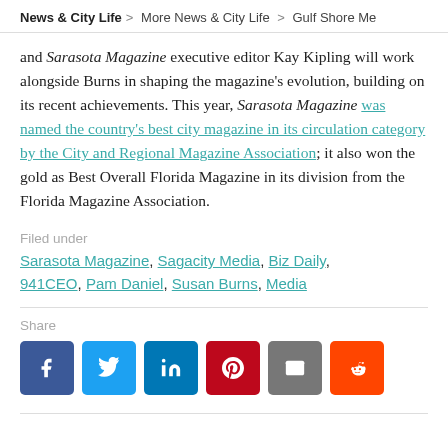News & City Life > More News & City Life > Gulf Shore Me
and Sarasota Magazine executive editor Kay Kipling will work alongside Burns in shaping the magazine's evolution, building on its recent achievements. This year, Sarasota Magazine was named the country's best city magazine in its circulation category by the City and Regional Magazine Association; it also won the gold as Best Overall Florida Magazine in its division from the Florida Magazine Association.
Filed under
Sarasota Magazine, Sagacity Media, Biz Daily, 941CEO, Pam Daniel, Susan Burns, Media
Share